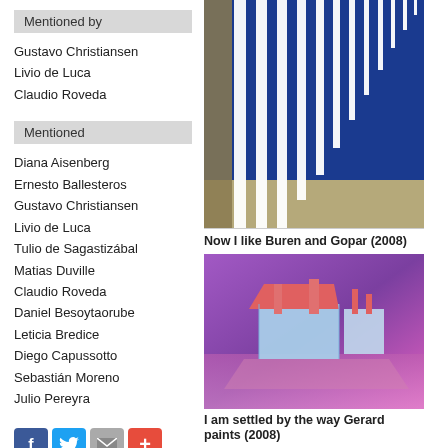Mentioned by
Gustavo Christiansen
Livio de Luca
Claudio Roveda
Mentioned
Diana Aisenberg
Ernesto Ballesteros
Gustavo Christiansen
Livio de Luca
Tulio de Sagastizábal
Matias Duville
Claudio Roveda
Daniel Besoytaorube
Leticia Bredice
Diego Capussotto
Sebastián Moreno
Julio Pereyra
[Figure (photo): Abstract artwork with blue and white vertical stripes on a canvas, partially visible.]
Now I like Buren and Gopar (2008)
[Figure (photo): Colorful 3D model of a house structure with pink/red roof elements on a purple gradient background.]
I am settled by the way Gerard paints (2008)